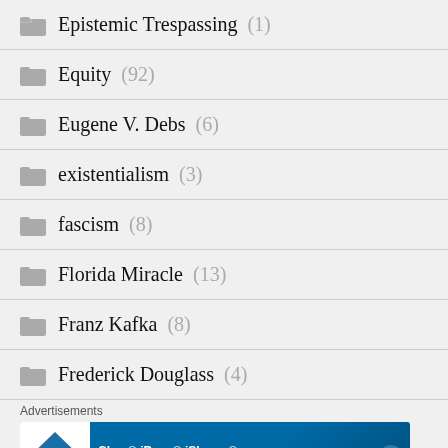Epistemic Trespassing (1)
Equity (92)
Eugene V. Debs (6)
existentialism (3)
fascism (8)
Florida Miracle (13)
Franz Kafka (8)
Frederick Douglass (4)
Advertisements
[Figure (screenshot): Cboe iBoxx iShares Corporate Bond Index Futures advertisement banner with LEARN MORE button]